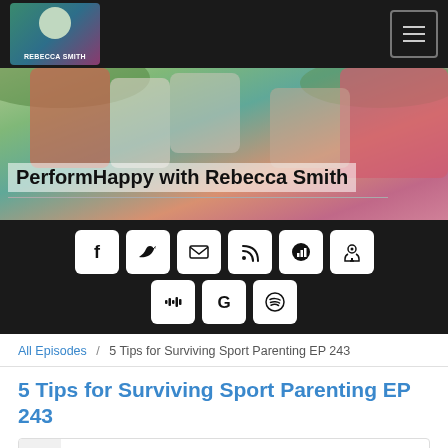PerformHappy with Rebecca Smith - Navigation bar with logo and hamburger menu
[Figure (screenshot): Hero banner image showing people in sports/team huddle with hands together, with text overlay 'PerformHappy with Rebecca Smith']
[Figure (infographic): Black social media sharing bar with icons for Facebook, Twitter, Email, RSS, Chartable, Podcast, Stitcher, Google Podcasts, and Spotify]
All Episodes / 5 Tips for Surviving Sport Parenting EP 243
5 Tips for Surviving Sport Parenting EP 243
PERFORMHAPPY WITH REBECCA SMITH
5 Tips for Surviving Sport Parenting EP 243